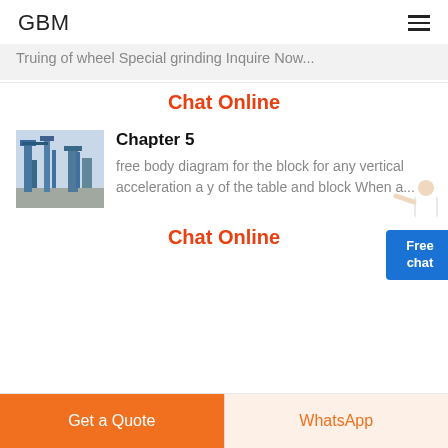GBM
Truing of wheel Special grinding Inquire Now...
Chat Online
Chapter 5
[Figure (photo): Industrial machinery photo showing blue metal structures and equipment]
free body diagram for the block for any vertical acceleration a y of the table and block When a...
Chat Online
Get a Quote
WhatsApp